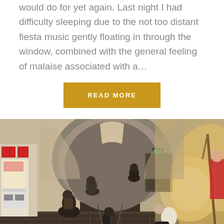would do for yet again. Last night I had difficulty sleeping due to the not too distant fiesta music gently floating in through the window, combined with the general feeling of malaise associated with a...
READ MORE
[Figure (photo): A stone archway corridor in what appears to be an albergue or pilgrim hostel on the Camino de Santiago. Multiple pilgrims with backpacks and trekking poles are preparing to depart, silhouetted against a bright light at the end of the hallway. The floor is cobblestone, and the walls are whitewashed stone with a vaulted ceiling. On the left side there is a vending machine with red signs.]